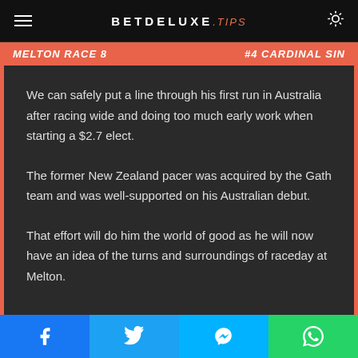BETDELUXE.TIPS
MELTON RACE 8 | #4 CARDINAL SIN
We can safely put a line through his first run in Australia after racing wide and doing too much early work when starting a $2.7 elect.
The former New Zealand pacer was acquired by the Gath team and was well-supported on his Australian debut.
That effort will do him the world of good as he will now have an idea of the turns and surroundings of raceday at Melton.
Facebook | Twitter | Messenger | WhatsApp